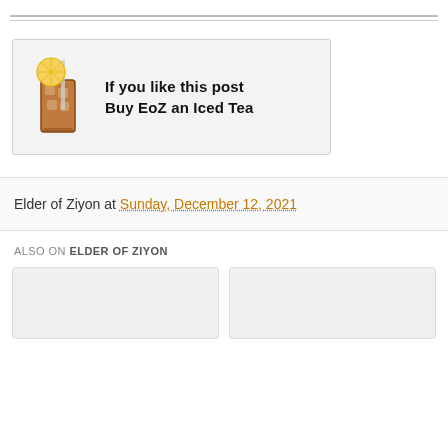[Figure (illustration): Iced tea promotional banner with a tall glass of iced tea with lemon, text reads: If you like this post Buy EoZ an Iced Tea]
Elder of Ziyon at Sunday, December 12, 2021
ALSO ON ELDER OF ZIYON
[Figure (other): Two card-style content preview boxes at the bottom]
[Figure (other): Second card preview box]